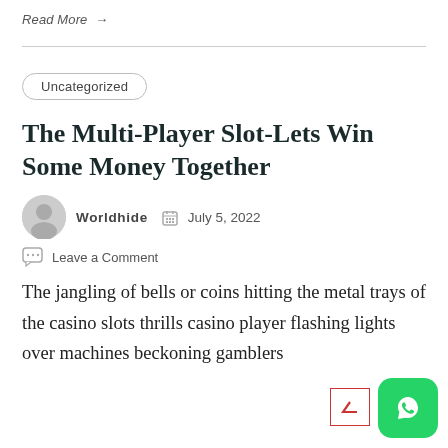Read More →
Uncategorized
The Multi-Player Slot-Lets Win Some Money Together
Worldhide  July 5, 2022
Leave a Comment
The jangling of bells or coins hitting the metal trays of the casino slots thrills casino player flashing lights over machines beckoning gamblers